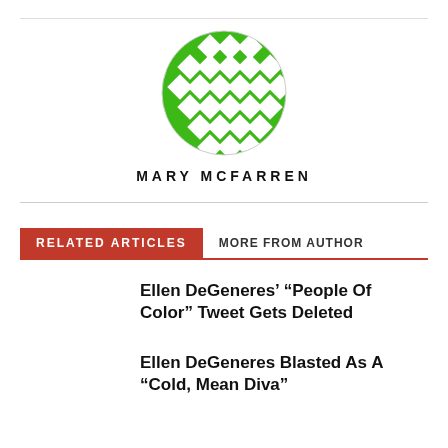[Figure (logo): Green circular logo made of diamond/square pattern shapes forming a globe-like design]
MARY MCFARREN
RELATED ARTICLES  MORE FROM AUTHOR
Ellen DeGeneres' “People Of Color” Tweet Gets Deleted
Ellen DeGeneres Blasted As A “Cold, Mean Diva”